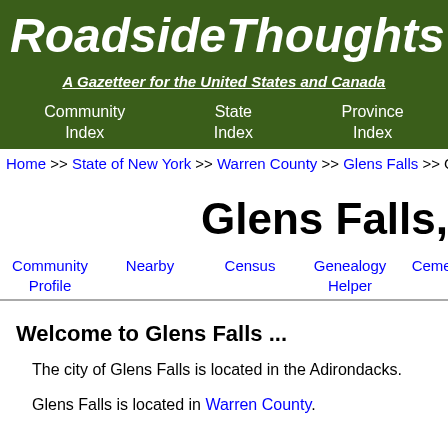RoadsideThoughts
A Gazetteer for the United States and Canada
Community Index | State Index | Province Index
Home >> State of New York >> Warren County >> Glens Falls >> C...
Glens Falls,
Community Profile | Nearby | Census | Genealogy Helper | Cemeteries
Welcome to Glens Falls ...
The city of Glens Falls is located in the Adirondacks.
Glens Falls is located in Warren County.